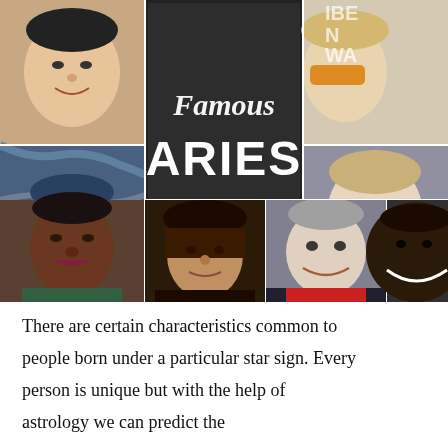[Figure (photo): Collage of famous Aries celebrities: top-left Jackie Chan, center chalkboard with 'Famous ARIES' text, top-right Elton John (partially cropped), middle-left Van Gogh self-portrait painting, middle-right Ryan Gosling, bottom-left Maya Angelou, bottom second Raphael self-portrait, bottom third Larry Page, bottom-right Akon (partially cropped)]
There are certain characteristics common to people born under a particular star sign. Every person is unique but with the help of astrology we can predict the